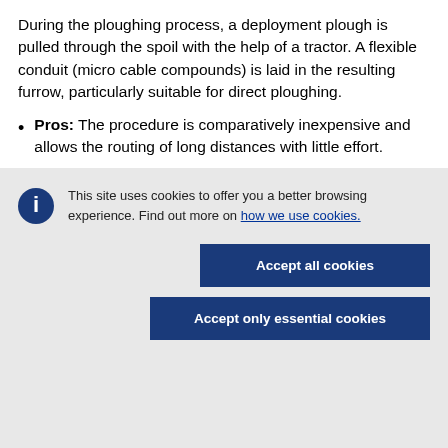During the ploughing process, a deployment plough is pulled through the spoil with the help of a tractor. A flexible conduit (micro cable compounds) is laid in the resulting furrow, particularly suitable for direct ploughing.
Pros: The procedure is comparatively inexpensive and allows the routing of long distances with little effort.
This site uses cookies to offer you a better browsing experience. Find out more on how we use cookies.
Accept all cookies
Accept only essential cookies